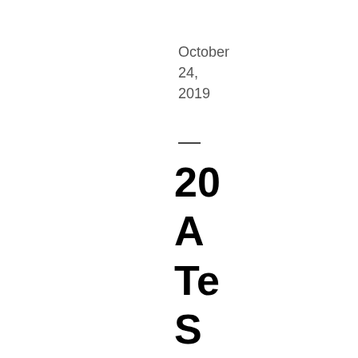October 24, 2019
20 A Te S sl al ti hi iF u: b' at